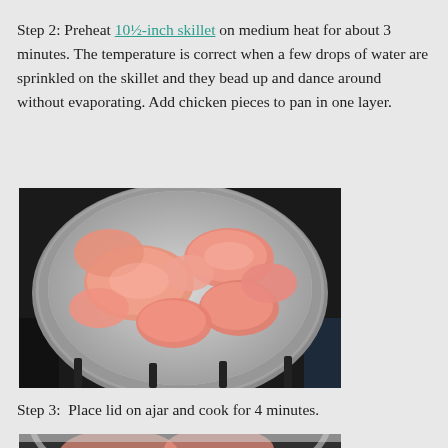Step 2: Preheat 10½-inch skillet on medium heat for about 3 minutes. The temperature is correct when a few drops of water are sprinkled on the skillet and they bead up and dance around without evaporating. Add chicken pieces to pan in one layer.
[Figure (photo): Raw chicken pieces arranged in a stainless steel skillet on a stove burner, viewed from above at an angle.]
Step 3:  Place lid on ajar and cook for 4 minutes.
[Figure (photo): Partial view of a skillet with chicken on a stove, lid placement step.]